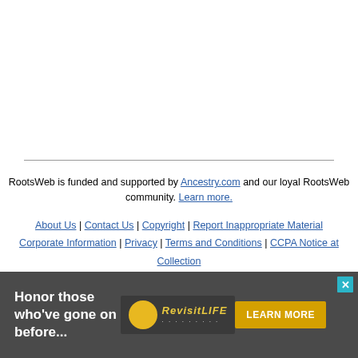RootsWeb is funded and supported by Ancestry.com and our loyal RootsWeb community. Learn more.
About Us | Contact Us | Copyright | Report Inappropriate Material Corporate Information | Privacy | Terms and Conditions | CCPA Notice at Collection
[Figure (photo): Advertisement banner for RevisitLife with text 'Honor those who've gone on before...' and a Learn More button]